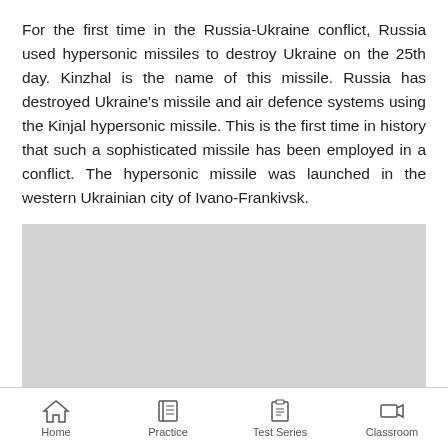For the first time in the Russia-Ukraine conflict, Russia used hypersonic missiles to destroy Ukraine on the 25th day. Kinzhal is the name of this missile. Russia has destroyed Ukraine's missile and air defence systems using the Kinjal hypersonic missile. This is the first time in history that such a sophisticated missile has been employed in a conflict. The hypersonic missile was launched in the western Ukrainian city of Ivano-Frankivsk.
[Figure (photo): Gray placeholder image area]
Home | Practice | Test Series | Classroom